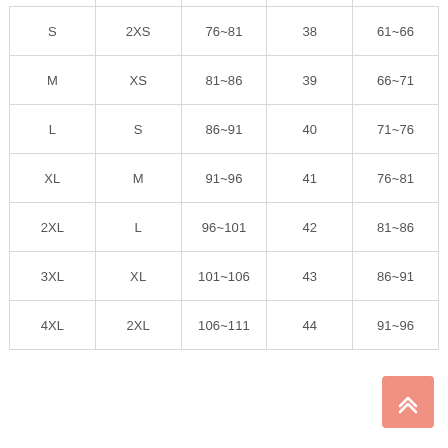|  |  |  |  |  |
| --- | --- | --- | --- | --- |
| S | 2XS | 76~81 | 38 | 61~66 |
| M | XS | 81~86 | 39 | 66~71 |
| L | S | 86~91 | 40 | 71~76 |
| XL | M | 91~96 | 41 | 76~81 |
| 2XL | L | 96~101 | 42 | 81~86 |
| 3XL | XL | 101~106 | 43 | 86~91 |
| 4XL | 2XL | 106~111 | 44 | 91~96 |
[Figure (other): Back to top button — salmon/coral colored rounded square with double upward chevron arrow icon]